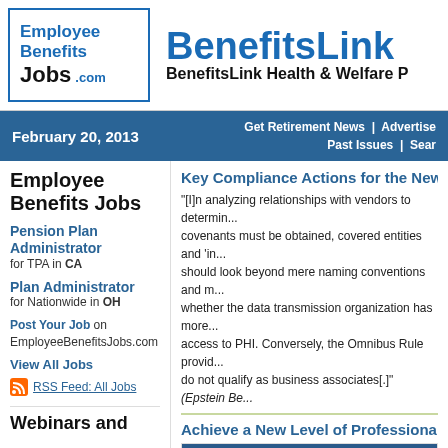[Figure (logo): Employee Benefits Jobs .com logo in blue bordered box]
BenefitsLink Health & Welfare P
February 20, 2013 | Get Retirement News | Advertise | Past Issues | Search
Employee Benefits Jobs
Pension Plan Administrator for TPA in CA
Plan Administrator for Nationwide in OH
Post Your Job on EmployeeBenefitsJobs.com
View All Jobs
RSS Feed: All Jobs
Webinars and
Key Compliance Actions for the New HIPA
"[I]n analyzing relationships with vendors to determine whether business associate covenants must be obtained, covered entities and 'in analyzing relationships with vendors should look beyond mere naming conventions and must... whether the data transmission organization has more... access to PHI. Conversely, the Omnibus Rule provid... do not qualify as business associates[.]" (Epstein Be...
Achieve a New Level of Professional Grow
INTERNATIONAL FOUNDATION OF EMPLO
Achieve a new level of professional growth with the CEBS (Certified Employee Benefit Specialist) designatio...